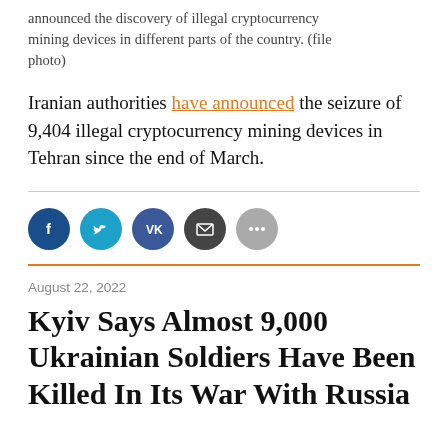announced the discovery of illegal cryptocurrency mining devices in different parts of the country. (file photo)
Iranian authorities have announced the seizure of 9,404 illegal cryptocurrency mining devices in Tehran since the end of March.
[Figure (other): Social media share buttons: Facebook, Twitter, VK, Email, More]
August 22, 2022
Kyiv Says Almost 9,000 Ukrainian Soldiers Have Been Killed In Its War With Russia